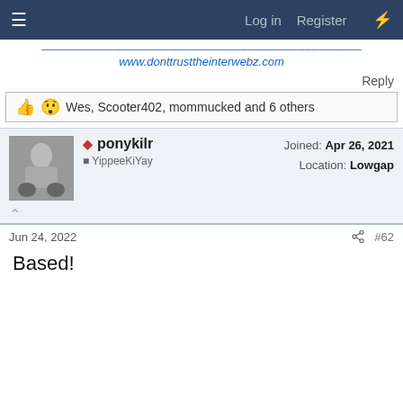Log in  Register
www.donttrusttheinterwebz.com
Reply
Wes, Scooter402, mommucked and 6 others
ponykilr
YippeeKiYay
Joined: Apr 26, 2021
Location: Lowgap
Jun 24, 2022  #62
Based!
*ponykilr Memeology Inc. makes no claims to the accuracy of this meme and its origin. PMI will not assume responsibility for its use or misuse. For more